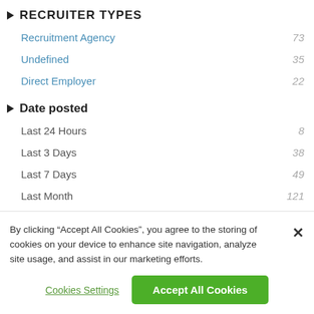RECRUITER TYPES
Recruitment Agency   73
Undefined   35
Direct Employer   22
Date posted
Last 24 Hours   8
Last 3 Days   38
Last 7 Days   49
Last Month   121
All Active   130
By clicking “Accept All Cookies”, you agree to the storing of cookies on your device to enhance site navigation, analyze site usage, and assist in our marketing efforts.
Cookies Settings
Accept All Cookies